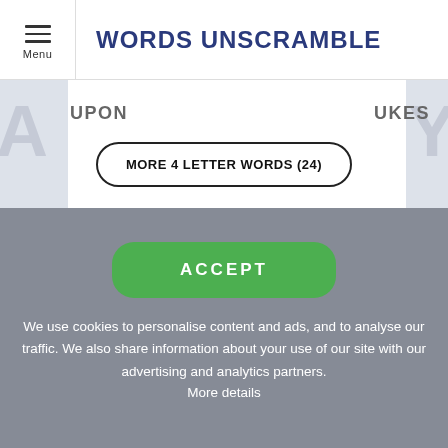WORDS UNSCRAMBLE
UPON    UKES
MORE 4 LETTER WORDS (24)
ACCEPT
We use cookies to personalise content and ads, and to analyse our traffic. We also share information about your use of our site with our advertising and analytics partners.
More details